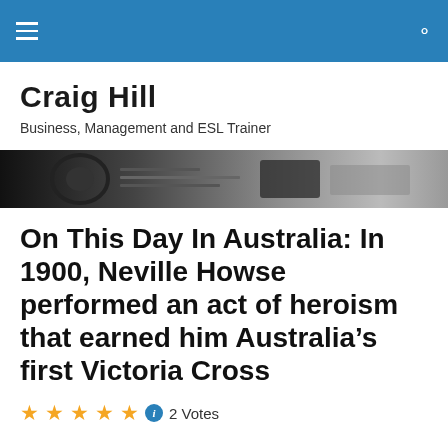Craig Hill — navigation bar
Craig Hill
Business, Management and ESL Trainer
[Figure (photo): Black and white close-up photo of papers/documents]
On This Day In Australia: In 1900, Neville Howse performed an act of heroism that earned him Australia's first Victoria Cross
2 Votes